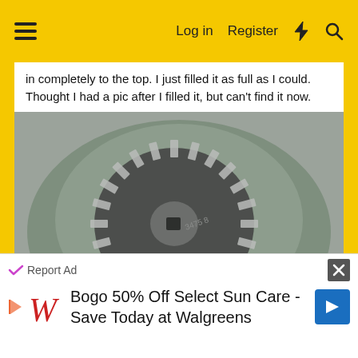Log in  Register
in completely to the top. I just filled it as full as I could. Thought I had a pic after I filled it, but can't find it now.
[Figure (photo): Close-up photo of a bevel gear (crown gear) sitting inside a metal housing/casing. The gear has many teeth arranged radially and shows markings '3475 8' on the face.]
Report Ad
Bogo 50% Off Select Sun Care - Save Today at Walgreens